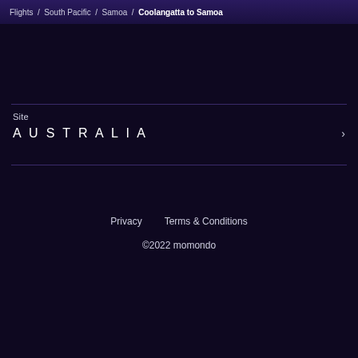Flights / South Pacific / Samoa / Coolangatta to Samoa
Site
AUSTRALIA
Privacy   Terms & Conditions
©2022 momondo